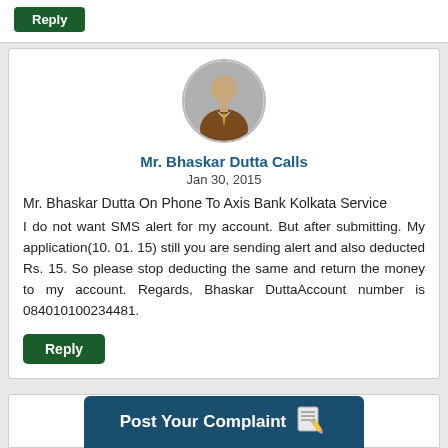[Figure (other): Green Reply button at top of page]
[Figure (photo): Generic male user avatar in a circle - gray background with brown suit figure]
Mr. Bhaskar Dutta Calls
Jan 30, 2015
Mr. Bhaskar Dutta On Phone To Axis Bank Kolkata Service
I do not want SMS alert for my account. But after submitting. My application(10. 01. 15) still you are sending alert and also deducted Rs. 15. So please stop deducting the same and return the money to my account. Regards, Bhaskar DuttaAccount number is 084010100234481.
[Figure (other): Green Reply button at bottom of comment card]
[Figure (other): Post Your Complaint banner button at bottom with pencil/paper icon]
[Figure (photo): Partial generic male user avatar visible at bottom of page]